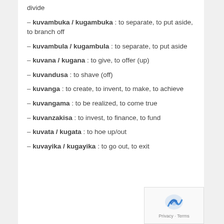divide
– kuvambuka / kugambuka : to separate, to put aside, to branch off
– kuvambula / kugambula : to separate, to put aside
– kuvana / kugana : to give, to offer (up)
– kuvandusa : to shave (off)
– kuvanga : to create, to invent, to make, to achieve
– kuvangama : to be realized, to come true
– kuvanzakisa : to invest, to finance, to fund
– kuvata / kugata : to hoe up/out
– kuvayika / kugayika : to go out, to exit